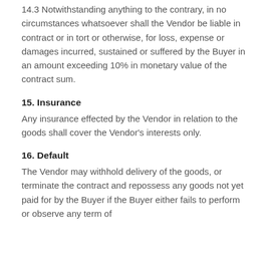14.3 Notwithstanding anything to the contrary, in no circumstances whatsoever shall the Vendor be liable in contract or in tort or otherwise, for loss, expense or damages incurred, sustained or suffered by the Buyer in an amount exceeding 10% in monetary value of the contract sum.
15. Insurance
Any insurance effected by the Vendor in relation to the goods shall cover the Vendor's interests only.
16. Default
The Vendor may withhold delivery of the goods, or terminate the contract and repossess any goods not yet paid for by the Buyer if the Buyer either fails to perform or observe any term of